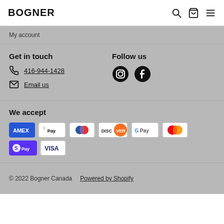BOGNER
My account
Get in touch
416-944-1428
Email us
Follow us
[Figure (logo): Instagram and Facebook social media icons]
We accept
[Figure (logo): Payment method icons: American Express, Apple Pay, Diners Club, Discover, Google Pay, Mastercard, Shop Pay, Visa]
© 2022 Bogner Canada   Powered by Shopify